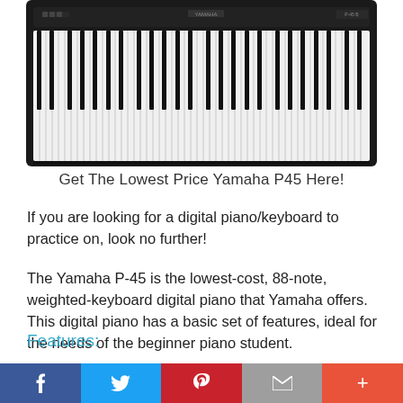[Figure (photo): Yamaha P45 digital piano/keyboard, black, shown from above at slight angle, 88 keys visible]
Get The Lowest Price Yamaha P45 Here!
If you are looking for a digital piano/keyboard to practice on, look no further!
The Yamaha P-45 is the lowest-cost, 88-note, weighted-keyboard digital piano that Yamaha offers. This digital piano has a basic set of features, ideal for the needs of the beginner piano student.
Features:
– GHS weighted action is heavier in the low end